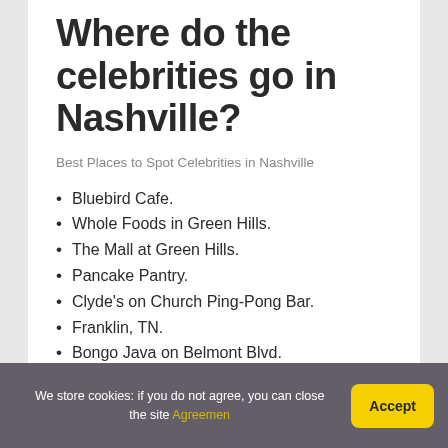Where do the celebrities go in Nashville?
Best Places to Spot Celebrities in Nashville
Bluebird Cafe.
Whole Foods in Green Hills.
The Mall at Green Hills.
Pancake Pantry.
Clyde's on Church Ping-Pong Bar.
Franklin, TN.
Bongo Java on Belmont Blvd.
Pinewood Social.
We store cookies: if you do not agree, you can close the site Agreemen  Accept